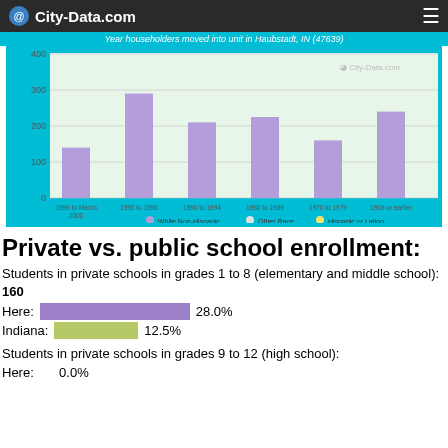City-Data.com
[Figure (bar-chart): Year householders moved into unit in Haubstadt, IN (47639)]
Private vs. public school enrollment:
Students in private schools in grades 1 to 8 (elementary and middle school): 160
Here: 28.0%
Indiana: 12.5%
Students in private schools in grades 9 to 12 (high school):
Here: 0.0%